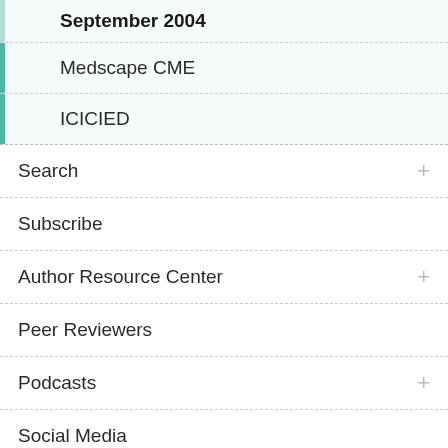September 2004
Medscape CME
ICICIED
Search
Subscribe
Author Resource Center
Peer Reviewers
Podcasts
Social Media